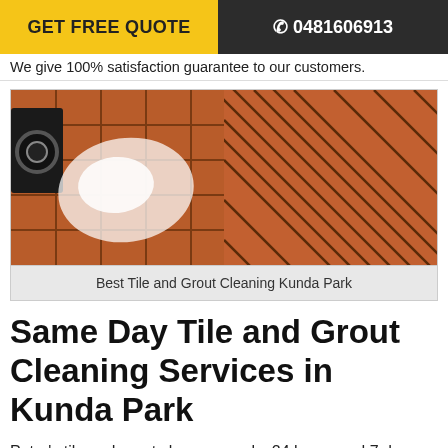GET FREE QUOTE   ☎ 0481606913
We give 100% satisfaction guarantee to our customers.
[Figure (photo): Before and after comparison of tile and grout cleaning: left side shows dirty tiles with white residue and an appliance visible; right side shows clean red/terracotta tiles with dark grout lines in a diagonal pattern.]
Best Tile and Grout Cleaning Kunda Park
Same Day Tile and Grout Cleaning Services in Kunda Park
Peter's tile and grout cleaners works 24 hours and 7 days and are available for the same day tile cleaning, grout cleaning, tiles polishing, tiles recoloring, tile